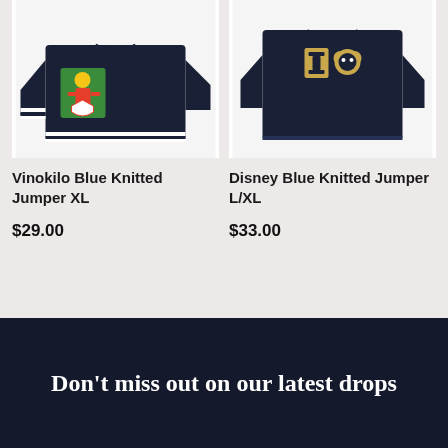[Figure (photo): Dark navy blue knitted jumper with colorful cartoon character patch (Vinokilo), shown on white background]
[Figure (photo): Dark navy blue knitted jumper with Disney character patch, shown on white background]
Vinokilo Blue Knitted Jumper XL
$29.00
Disney Blue Knitted Jumper L/XL
$33.00
Don't miss out on our latest drops